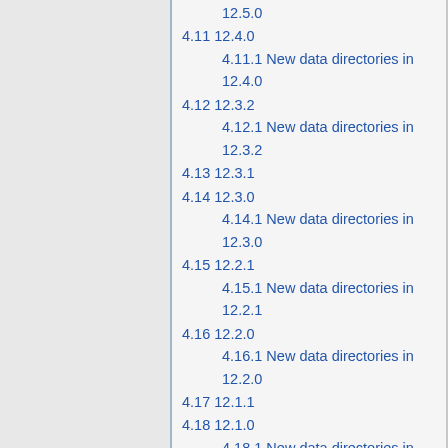12.5.0
4.11 12.4.0
4.11.1 New data directories in 12.4.0
4.12 12.3.2
4.12.1 New data directories in 12.3.2
4.13 12.3.1
4.14 12.3.0
4.14.1 New data directories in 12.3.0
4.15 12.2.1
4.15.1 New data directories in 12.2.1
4.16 12.2.0
4.16.1 New data directories in 12.2.0
4.17 12.1.1
4.18 12.1.0
4.18.1 New data directories in 12.1.0
4.19 12.0.3